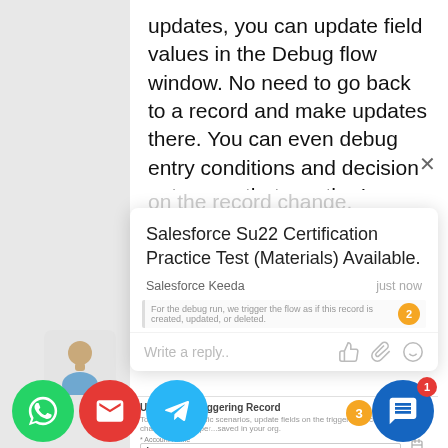updates, you can update field values in the Debug flow window. No need to go back to a record and make updates there. You can even debug entry conditions and decision outcomes that use the Is Changed operator to determine whether a flow will run when certain field values on the record change.
Salesforce Su22 Certification Practice Test (Materials) Available.
Salesforce Keeda   just now
For the debug run, we trigger the flow as if this record is created, updated, or deleted.
Write a reply..
[Figure (screenshot): Screenshot showing Salesforce UI: Update the Triggering Record section with badge number 3, description text, and fields for Account Name (Acme), Billing City, and Employees.]